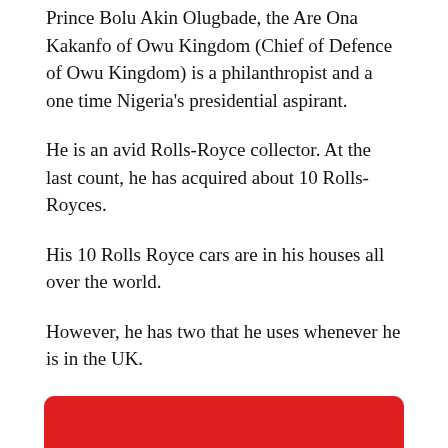Prince Bolu Akin Olugbade, the Are Ona Kakanfo of Owu Kingdom (Chief of Defence of Owu Kingdom) is a philanthropist and a one time Nigeria's presidential aspirant.
He is an avid Rolls-Royce collector. At the last count, he has acquired about 10 Rolls-Royces.
His 10 Rolls Royce cars are in his houses all over the world.
However, he has two that he uses whenever he is in the UK.
[Figure (other): Red button with Android icon and text 'Download Our App']
[Figure (other): Red button with car icon and text 'Check Import Duty']
[Figure (other): Partially visible red button at bottom of page]